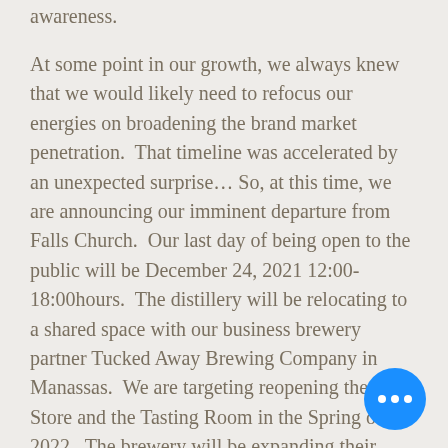awareness.
At some point in our growth, we always knew that we would likely need to refocus our energies on broadening the brand market penetration.  That timeline was accelerated by an unexpected surprise…  So, at this time, we are announcing our imminent departure from Falls Church.  Our last day of being open to the public will be December 24, 2021 12:00-18:00hours.  The distillery will be relocating to a shared space with our business brewery partner Tucked Away Brewing Company in Manassas.  We are targeting reopening the ABC Store and the Tasting Room in the Spring of 2022.  The brewery will be expanding their operations to include our Virginia Lemonade and Tart Cherry Mule on cans and, of course, Live Music!